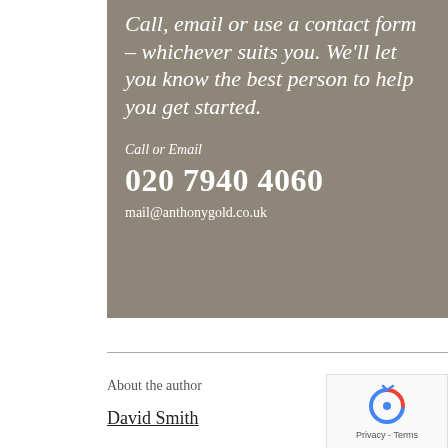Call, email or use a contact form – whichever suits you. We'll let you know the best person to help you get started.
Call or Email
020 7940 4060
mail@anthonygold.co.uk
About the author
David Smith